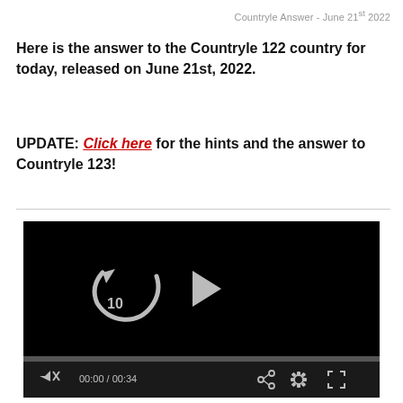Countryle Answer - June 21st 2022
Here is the answer to the Countryle 122 country for today, released on June 21st, 2022.
UPDATE: Click here for the hints and the answer to Countryle 123!
[Figure (screenshot): Video player showing a paused video with black screen, replay-10 button, play button, progress bar, time display 00:00 / 00:34, share, settings, and fullscreen controls.]